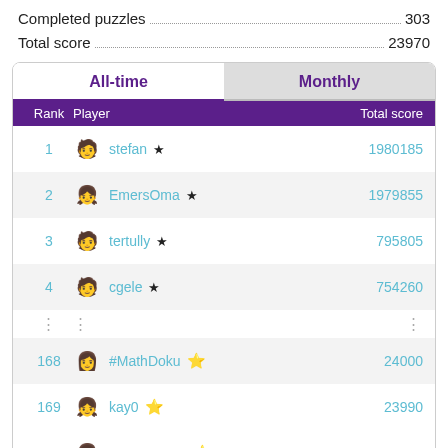Completed puzzles....303
Total score....23970
|  | All-time | Monthly |
| --- | --- | --- |
| Rank | Player | Total score |
| 1 | stefan ★ | 1980185 |
| 2 | EmersOma ★ | 1979855 |
| 3 | tertully ★ | 795805 |
| 4 | cgele ★ | 754260 |
| ⋮ | ⋮ | ⋮ |
| 168 | #MathDoku ⭐ | 24000 |
| 169 | kay0 ⭐ | 23990 |
| 170 | nicoleanne ⭐ | 23970 |
| 171 | Fishieme ⭐ | 23735 |